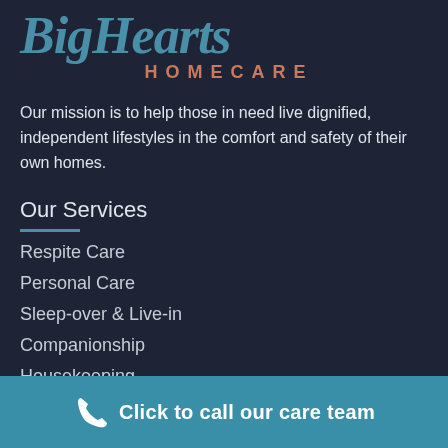BigHearts HOMECARE
Our mission is to help those in need live dignified, independent lifestyles in the comfort and safety of their own homes.
Our Services
Respite Care
Personal Care
Sleep-over & Live-in
Companionship
Housekeeping
Alzheimer's And Dementia
Click to call our care team